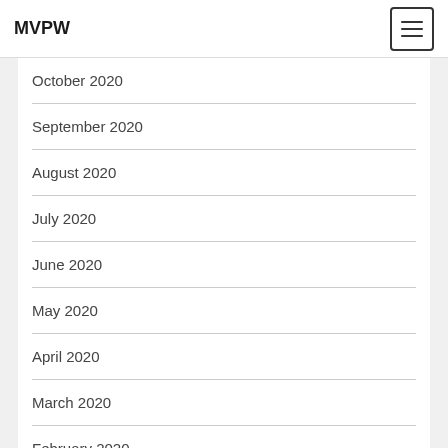MVPW
October 2020
September 2020
August 2020
July 2020
June 2020
May 2020
April 2020
March 2020
February 2020
January 2020